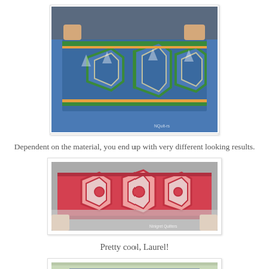[Figure (photo): Person holding a blue hexagon quilt table runner with sailboat fabric and green borders against a light background]
Dependent on the material, you end up with very different looking results.
[Figure (photo): Person holding a red and white hexagon quilt table runner with circular pattern details, Ninigret Quilters watermark]
Pretty cool, Laurel!
[Figure (photo): Partial view of another quilt table runner being held up]